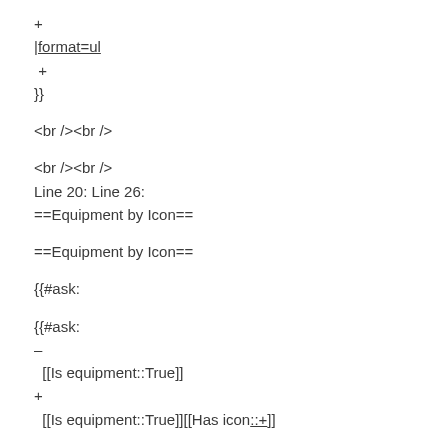+
|format=ul
+
}}
<br /><br />
<br /><br />
Line 20: Line 26:
==Equipment by Icon==
==Equipment by Icon==
{{#ask:
{{#ask:
–
[[Is equipment::True]]
+
[[Is equipment::True]][[Has icon::+]]